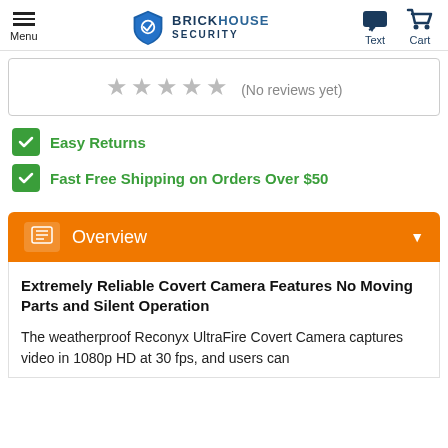Menu | BrickHouse Security | Text | Cart
★★★★★ (No reviews yet)
Easy Returns
Fast Free Shipping on Orders Over $50
Overview
Extremely Reliable Covert Camera Features No Moving Parts and Silent Operation
The weatherproof Reconyx UltraFire Covert Camera captures video in 1080p HD at 30 fps, and users can